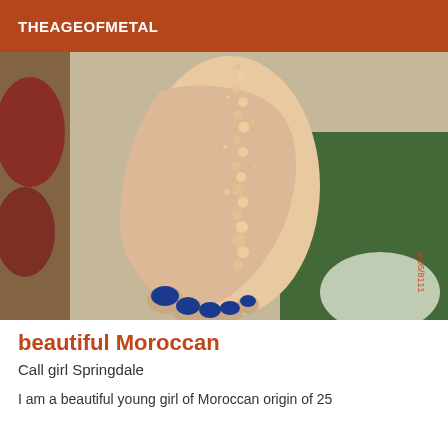THEAGEOFMETAL
[Figure (photo): Close-up photo of a foot with blue nail polish and glitter/rhinestone ankle decoration, resting on a colorful patterned rug. A date stamp 'ar05/8111' is visible on the right side of the image.]
beautiful Moroccan
Call girl Springdale
I am a beautiful young girl of Moroccan origin of 25